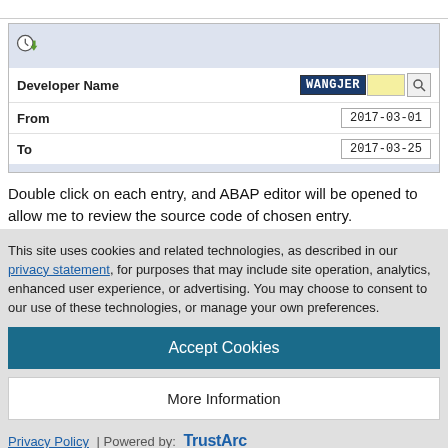[Figure (screenshot): UI form panel with clock/arrow icon, showing Developer Name field with value WANGJER, From date 2017-03-01, To date 2017-03-25]
Double click on each entry, and ABAP editor will be opened to allow me to review the source code of chosen entry.
This site uses cookies and related technologies, as described in our privacy statement, for purposes that may include site operation, analytics, enhanced user experience, or advertising. You may choose to consent to our use of these technologies, or manage your own preferences.
Accept Cookies
More Information
Privacy Policy | Powered by: TrustArc
ZCL_ORDER_CUMULATE_API========CS
ZJERRY_ORDER_READ
2017-03-21
2017-03-21